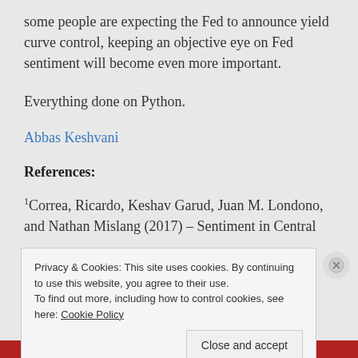some people are expecting the Fed to announce yield curve control, keeping an objective eye on Fed sentiment will become even more important.
Everything done on Python.
Abbas Keshvani
References:
1Correa, Ricardo, Keshav Garud, Juan M. Londono, and Nathan Mislang (2017) – Sentiment in Central
Privacy & Cookies: This site uses cookies. By continuing to use this website, you agree to their use. To find out more, including how to control cookies, see here: Cookie Policy
Close and accept